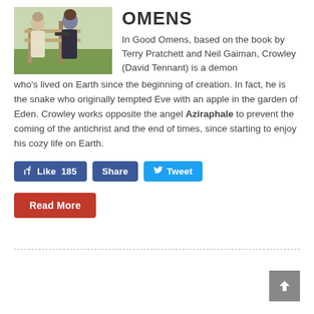[Figure (photo): Two people standing outdoors near a wooden fence, one in a light coat and one in dark clothing]
OMENS
In Good Omens, based on the book by Terry Pratchett and Neil Gaiman, Crowley (David Tennant) is a demon who's lived on Earth since the beginning of creation. In fact, he is the snake who originally tempted Eve with an apple in the garden of Eden. Crowley works opposite the angel Aziraphale to prevent the coming of the antichrist and the end of times, since starting to enjoy his cozy life on Earth.
Like 185
Share
Tweet
Read More